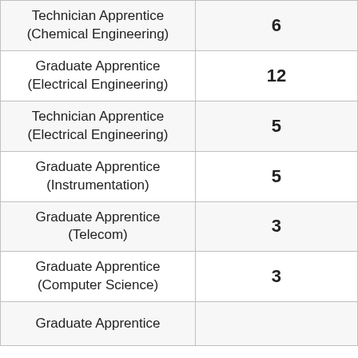| Position | Count |
| --- | --- |
| Technician Apprentice (Chemical Engineering) | 6 |
| Graduate Apprentice (Electrical Engineering) | 12 |
| Technician Apprentice (Electrical Engineering) | 5 |
| Graduate Apprentice (Instrumentation) | 5 |
| Graduate Apprentice (Telecom) | 3 |
| Graduate Apprentice (Computer Science) | 3 |
| Graduate Apprentice |  |